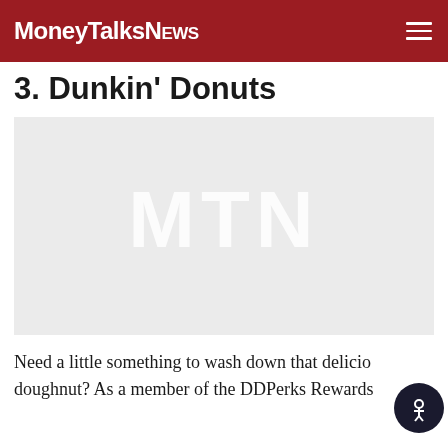MoneyTalksNews
3. Dunkin' Donuts
[Figure (photo): Placeholder image with MTN watermark in light gray on gray background]
Need a little something to wash down that delicious doughnut? As a member of the DDPerks Rewards